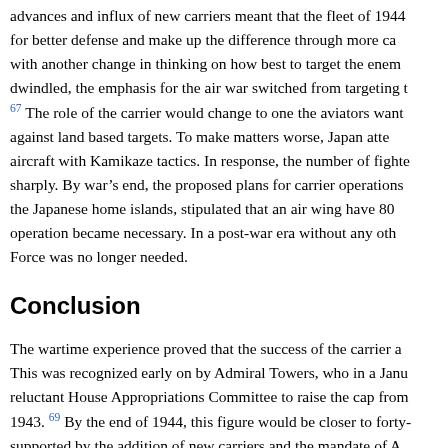advances and influx of new carriers meant that the fleet of 1944 for better defense and make up the difference through more ca with another change in thinking on how best to target the enemy dwindled, the emphasis for the air war switched from targeting t 67 The role of the carrier would change to one the aviators want against land based targets. To make matters worse, Japan atte aircraft with Kamikaze tactics. In response, the number of fighte sharply. By war's end, the proposed plans for carrier operations the Japanese home islands, stipulated that an air wing have 80 operation became necessary. In a post-war era without any oth Force was no longer needed.
Conclusion
The wartime experience proved that the success of the carrier a This was recognized early on by Admiral Towers, who in a Janu reluctant House Appropriations Committee to raise the cap from 1943. 69 By the end of 1944, this figure would be closer to forty- supported by the addition of new carriers and the mandate of A could command carriers. As carriers were entering service in gr battleships, the growth of aviator flag officers would outpace an aviator flag officers precedes the increases in carrier operations their use in aggressive, offensive actions.